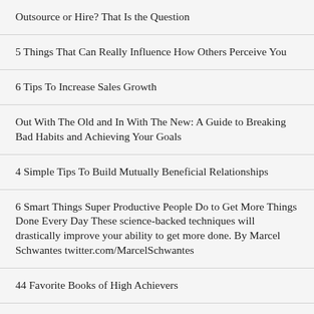Outsource or Hire? That Is the Question
5 Things That Can Really Influence How Others Perceive You
6 Tips To Increase Sales Growth
Out With The Old and In With The New: A Guide to Breaking Bad Habits and Achieving Your Goals
4 Simple Tips To Build Mutually Beneficial Relationships
6 Smart Things Super Productive People Do to Get More Things Done Every Day These science-backed techniques will drastically improve your ability to get more done. By Marcel Schwantes twitter.com/MarcelSchwantes
44 Favorite Books of High Achievers